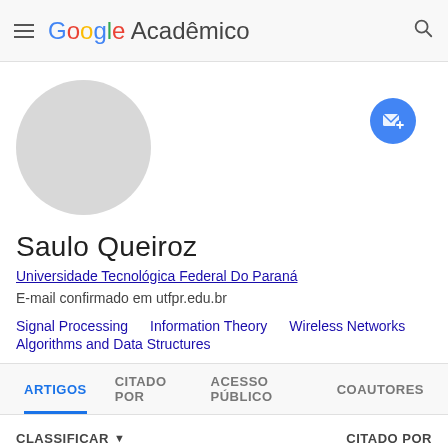Google Acadêmico
[Figure (illustration): Circular grey placeholder avatar photo]
[Figure (illustration): Blue circular follow/email button with envelope and plus icon]
Saulo Queiroz
Universidade Tecnológica Federal Do Paraná
E-mail confirmado em utfpr.edu.br
Signal Processing
Information Theory
Wireless Networks
Algorithms and Data Structures
ARTIGOS  CITADO POR  ACESSO PÚBLICO  COAUTORES
CLASSIFICAR  CITADO POR